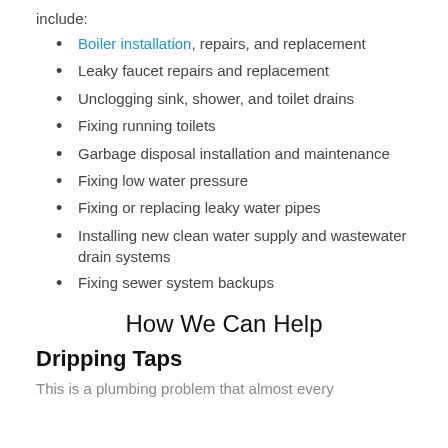include:
Boiler installation, repairs, and replacement
Leaky faucet repairs and replacement
Unclogging sink, shower, and toilet drains
Fixing running toilets
Garbage disposal installation and maintenance
Fixing low water pressure
Fixing or replacing leaky water pipes
Installing new clean water supply and wastewater drain systems
Fixing sewer system backups
How We Can Help
Dripping Taps
This is a plumbing problem that almost every